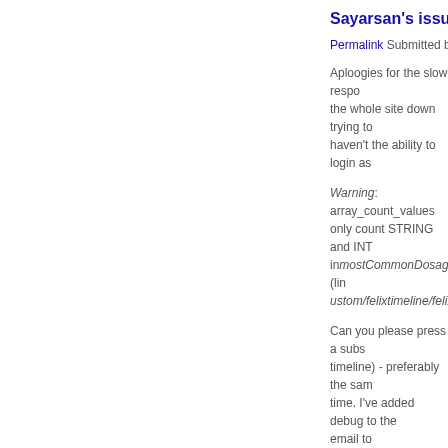Sayarsan's issues
Permalink Submitted by felix
Aploogies for the slow respo... the whole site down trying to... haven't the ability to login as...
Warning: array_count_values... only count STRING and INT... inmostCommonDosage() (lin... ustom/felixtimeline/felixtimel...
Can you please press a subs... timeline) - preferably the sam... time. I've added debug to the... email to felix@junkie.com.au
Array ( [0] => 3 [1] => 2 [2] =... => 2 [8] => 2 [9] => 2 [10] =>... [15] => 2 [16] => 2 [17] => 2... [22] => 2 [23] => 2 [24] => 2... [29] => 2 [30] => 2 [31] => 3... [36] => 2 [37] => 2 [38] => 2... [43] => 2 [44] => 2 [45] => 2...